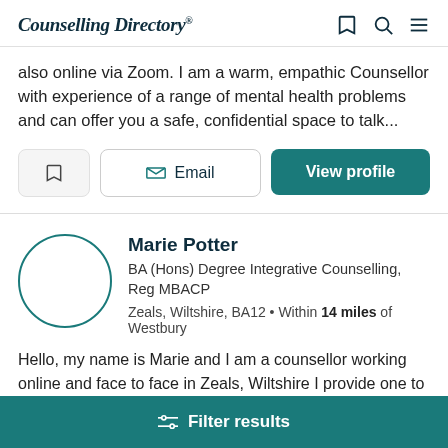Counselling Directory
also online via Zoom. I am a warm, empathic Counsellor with experience of a range of mental health problems and can offer you a safe, confidential space to talk...
Bookmark | Email | View profile
Marie Potter
BA (Hons) Degree Integrative Counselling, Reg MBACP
Zeals, Wiltshire, BA12 • Within 14 miles of Westbury
Hello, my name is Marie and I am a counsellor working online and face to face in Zeals, Wiltshire I provide one to
Filter results